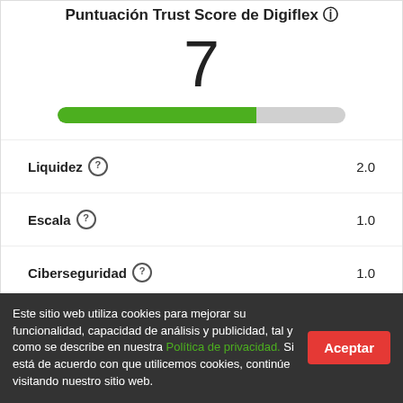Puntuación Trust Score de Digiflex
7
[Figure (other): Green progress bar showing approximately 69% fill on a grey background, representing score 7 out of 10]
Liquidez 2.0
Escala 1.0
Ciberseguridad 1.0
Cobertura de la API 1.0
Equipo 1.0
Incidencia 1.0
Este sitio web utiliza cookies para mejorar su funcionalidad, capacidad de análisis y publicidad, tal y como se describe en nuestra Política de privacidad. Si está de acuerdo con que utilicemos cookies, continúe visitando nuestro sitio web.